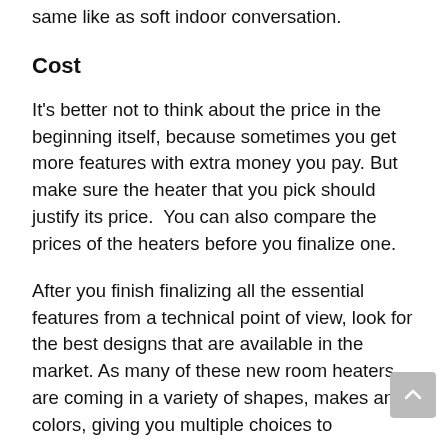same like as soft indoor conversation.
Cost
It's better not to think about the price in the beginning itself, because sometimes you get more features with extra money you pay. But make sure the heater that you pick should justify its price.  You can also compare the prices of the heaters before you finalize one.
After you finish finalizing all the essential features from a technical point of view, look for the best designs that are available in the market. As many of these new room heaters are coming in a variety of shapes, makes and colors, giving you multiple choices to